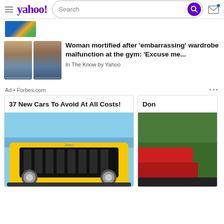yahoo! Search
[Figure (photo): Partial thumbnail image at top, partially cropped]
[Figure (photo): Two side-by-side video thumbnails showing a woman with hands to face, in a car]
Woman mortified after 'embarrassing' wardrobe malfunction at the gym: 'Excuse me...'
In The Know by Yahoo
Ad • Forbes.com
37 New Cars To Avoid At All Costs!
[Figure (photo): Front view of a yellow Jeep with distinctive grille, blue sky background]
Don
[Figure (photo): Partial second ad card image showing a red vehicle in a green/wooded background]